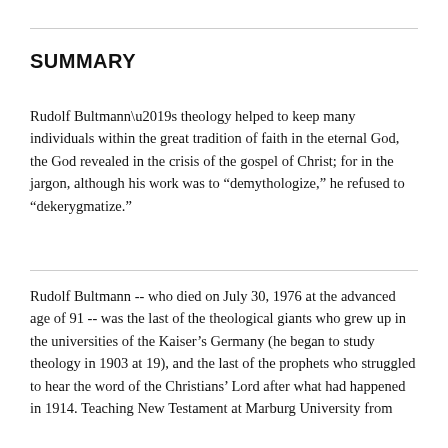SUMMARY
Rudolf Bultmann’s theology helped to keep many individuals within the great tradition of faith in the eternal God, the God revealed in the crisis of the gospel of Christ; for in the jargon, although his work was to “demythologize,” he refused to “dekerygmatize.”
Rudolf Bultmann -- who died on July 30, 1976 at the advanced age of 91 -- was the last of the theological giants who grew up in the universities of the Kaiser’s Germany (he began to study theology in 1903 at 19), and the last of the prophets who struggled to hear the word of the Christians’ Lord after what had happened in 1914. Teaching New Testament at Marburg University from